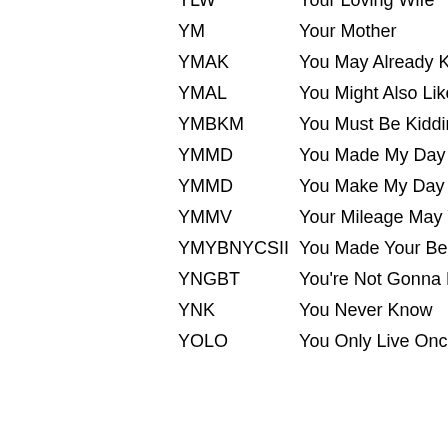| Abbreviation | Meaning |
| --- | --- |
| YLW | Your Loving Wife |
| YM | Your Mother |
| YMAK | You May Already Know |
| YMAL | You Might Also Like |
| YMBKM | You Must Be Kidding Me |
| YMMD | You Made My Day |
| YMMD | You Make My Day |
| YMMV | Your Mileage May Vary |
| YMYBNYCSII | You Made Your Bed Now You Can Sleep In It |
| YNGBT | You're Not Gonna Believe This |
| YNK | You Never Know |
| YOLO | You Only Live Once |